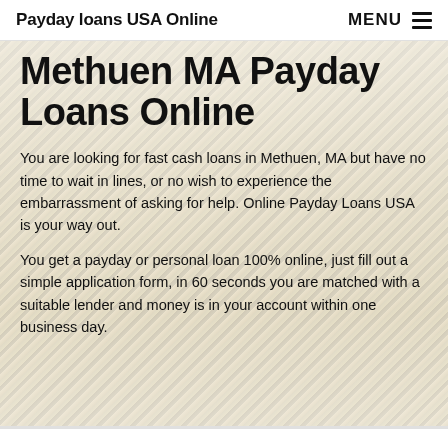Payday loans USA Online | MENU
Methuen MA Payday Loans Online
You are looking for fast cash loans in Methuen, MA but have no time to wait in lines, or no wish to experience the embarrassment of asking for help. Online Payday Loans USA is your way out.
You get a payday or personal loan 100% online, just fill out a simple application form, in 60 seconds you are matched with a suitable lender and money is in your account within one business day.